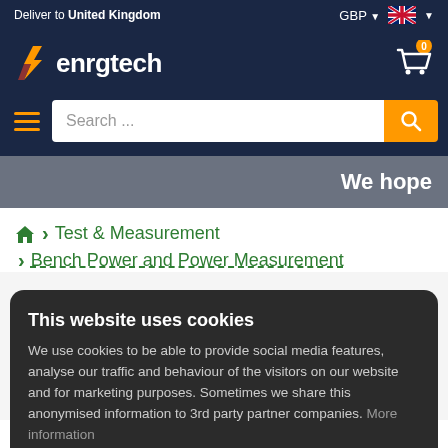Deliver to United Kingdom | GBP | [UK Flag]
[Figure (logo): Enrgtech logo with orange lightning bolt icon and white text on dark navy background]
[Figure (screenshot): Shopping cart icon with orange badge showing 0]
[Figure (screenshot): Hamburger menu icon in orange, search input field with 'Search ...' placeholder, orange search button with magnifier icon]
We hope
Test & Measurement
Bench Power and Power Measurement
This website uses cookies
We use cookies to be able to provide social media features, analyse our traffic and behaviour of the visitors on our website and for marketing purposes. Sometimes we share this anonymised information to 3rd party partner companies. More information
I accept all Cookies
Change settings